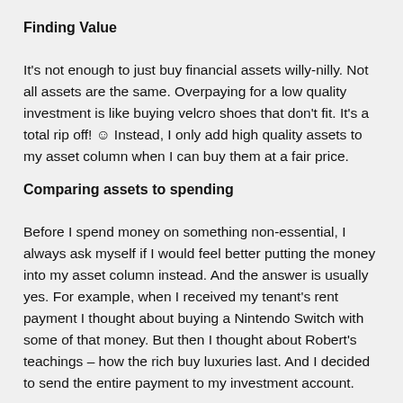Finding Value
It's not enough to just buy financial assets willy-nilly. Not all assets are the same. Overpaying for a low quality investment is like buying velcro shoes that don't fit. It's a total rip off! ☺ Instead, I only add high quality assets to my asset column when I can buy them at a fair price.
Comparing assets to spending
Before I spend money on something non-essential, I always ask myself if I would feel better putting the money into my asset column instead. And the answer is usually yes. For example, when I received my tenant's rent payment I thought about buying a Nintendo Switch with some of that money. But then I thought about Robert's teachings – how the rich buy luxuries last. And I decided to send the entire payment to my investment account.